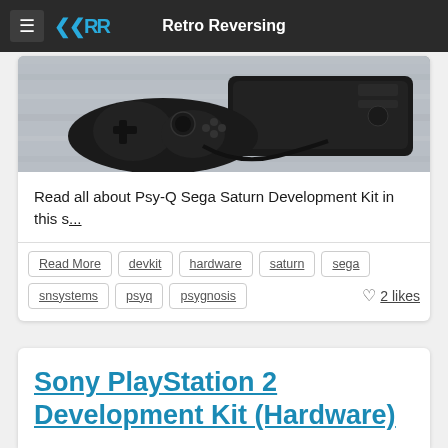Retro Reversing
[Figure (photo): Photo of a black gaming console (Sega Saturn) with a black controller on a wooden surface background]
Read all about Psy-Q Sega Saturn Development Kit in this s...
Read More
devkit
hardware
saturn
sega
snsystems
psyq
psygnosis
2 likes
Sony PlayStation 2 Development Kit (Hardware)